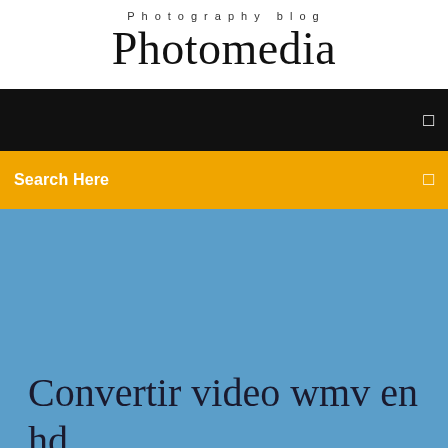Photography blog
Photomedia
[Figure (screenshot): Black navigation bar with a small square icon on the right side]
[Figure (screenshot): Yellow/gold search bar with 'Search Here' text and a small icon on the right]
[Figure (screenshot): Blue hero area background]
Convertir video wmv en hd